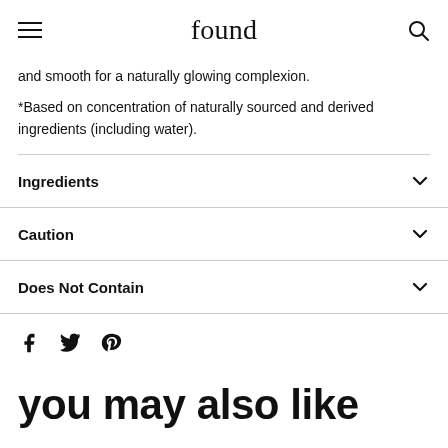found
and smooth for a naturally glowing complexion.
*Based on concentration of naturally sourced and derived ingredients (including water).
Ingredients
Caution
Does Not Contain
Share icons: Facebook, Twitter, Pinterest
you may also like